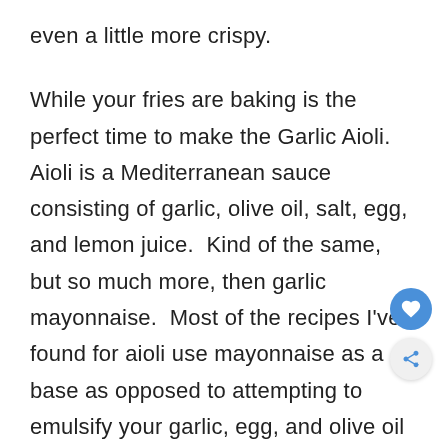even a little more crispy.
While your fries are baking is the perfect time to make the Garlic Aioli. Aioli is a Mediterranean sauce consisting of garlic, olive oil, salt, egg, and lemon juice. Kind of the same, but so much more, then garlic mayonnaise. Most of the recipes I've found for aioli use mayonnaise as a base as opposed to attempting to emulsify your garlic, egg, and olive oil as is traditional. I've experimented enough with the 'all th way from scratch version' to be very happy